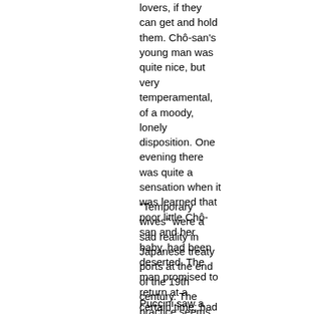lovers, if they can get and hold them. Chô-san's young man was quite nice, but very temperamental, of a moody, lonely disposition. One evening there was quite a sensation when it was learned that poor little Chô-san and her baby, had been deserted. The man promised to return at a certain time; had even arranged a signal so that Chô-san would know when his ship had come in; but the little girl-wife awaited that signal in vain. ... He never returned.
"Temporary wives" were a sad reality in Japanese treaty ports at the end of the 19th century. The practice seems to have been quite widespread. Fact and fiction might indeed have merged in the emblematic figure Cho-Cho-san.
Puccini saw a theatrical adaptation by the American